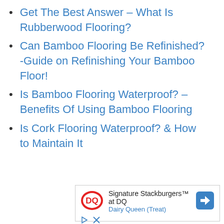Get The Best Answer – What Is Rubberwood Flooring?
Can Bamboo Flooring Be Refinished? -Guide on Refinishing Your Bamboo Floor!
Is Bamboo Flooring Waterproof? – Benefits Of Using Bamboo Flooring
Is Cork Flooring Waterproof? & How to Maintain It
[Figure (other): Advertisement banner for Dairy Queen Signature Stackburgers with DQ logo, navigation arrow icon, and ad controls (play and close buttons)]